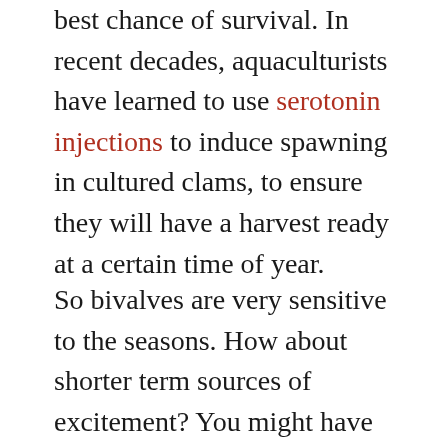best chance of survival. In recent decades, aquaculturists have learned to use serotonin injections to induce spawning in cultured clams, to ensure they will have a harvest ready at a certain time of year.
So bivalves are very sensitive to the seasons. How about shorter term sources of excitement? You might have observed this yourself through the clam's most iconic activity: opening and closing its shell. Clams close their shells with powerful adductor muscles which pull the two valves together. A springy ligament at the hinge pulls the shell open when the muscles relax. Just like us, the clam needs to use nerve cells to signal the muscle to do its thing. In addition, two different sets of ganglia act to control the foot that some bivalves can